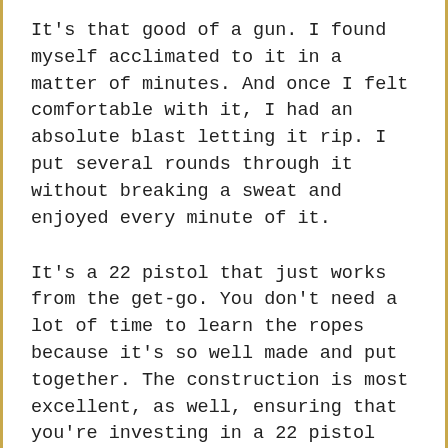It's that good of a gun. I found myself acclimated to it in a matter of minutes. And once I felt comfortable with it, I had an absolute blast letting it rip. I put several rounds through it without breaking a sweat and enjoyed every minute of it.
It's a 22 pistol that just works from the get-go. You don't need a lot of time to learn the ropes because it's so well made and put together. The construction is most excellent, as well, ensuring that you're investing in a 22 pistol that's built to last.
And that is perhaps one of the best